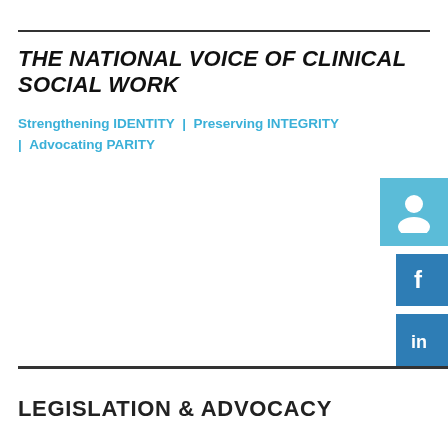THE NATIONAL VOICE OF CLINICAL SOCIAL WORK
Strengthening IDENTITY | Preserving INTEGRITY | Advocating PARITY
[Figure (infographic): User account icon (person silhouette) in a light blue square, and Facebook and LinkedIn social media icons in dark blue squares]
LEGISLATION & ADVOCACY